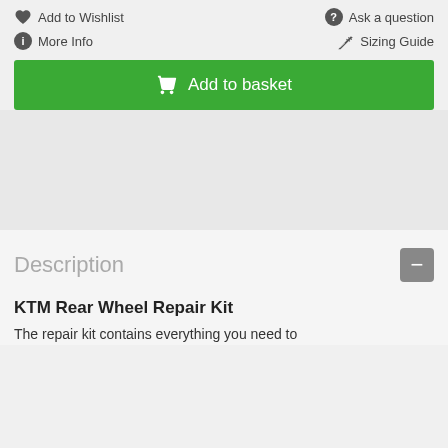♥ Add to Wishlist
❓ Ask a question
ℹ More Info
📏 Sizing Guide
🛒 Add to basket
Description
KTM Rear Wheel Repair Kit
The repair kit contains everything you need to